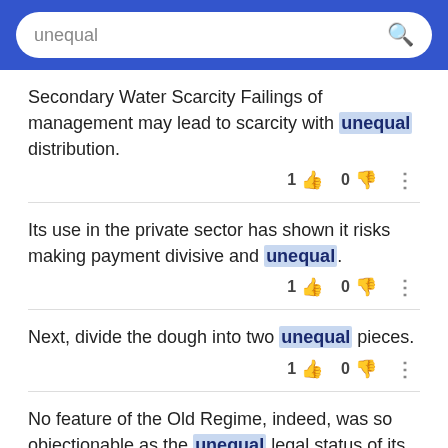unequal [search bar with search icon]
Secondary Water Scarcity Failings of management may lead to scarcity with unequal distribution.
1 👍  0 👎  ⋮
Its use in the private sector has shown it risks making payment divisive and unequal.
1 👍  0 👎  ⋮
Next, divide the dough into two unequal pieces.
1 👍  0 👎  ⋮
No feature of the Old Regime, indeed, was so objectionable as the unequal legal status of its subjects.